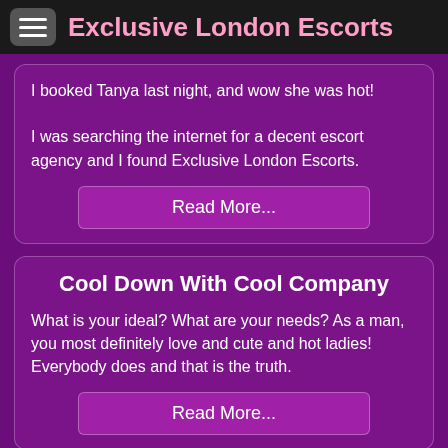Exclusive London Escorts
I booked Tanya last night, and wow she was hot!

I was searching the internet for a decent escort agency and I found Exclusive London Escorts.
Read More...
Cool Down With Cool Company
What is your ideal? What are your needs? As a man, you most definitely love and cute and hot ladies! Everybody does and that is the truth.
Read More...